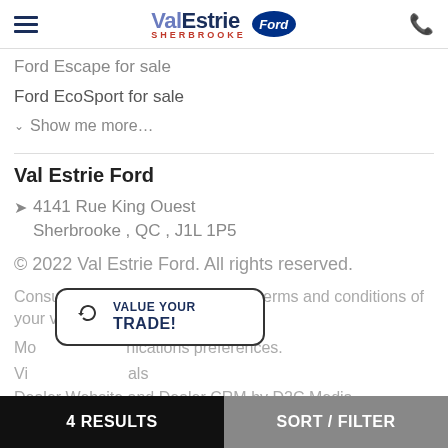Val Estrie Ford – Sherbrooke (logo + phone)
Ford Escape for sale
Ford EcoSport for sale
Show me more…
Val Estrie Ford
4141 Rue King Ouest Sherbrooke , QC , J1L 1P5
© 2022 Val Estrie Ford. All rights reserved.
Consult our privacy policy and the terms and conditions of your visit.
Modify your communications preferences.
Visit our specials
Dealer Website and Dealer CRM by D2C Media.
[Figure (other): Value Your Trade popup button with recycling-arrows icon]
4 RESULTS    SORT / FILTER